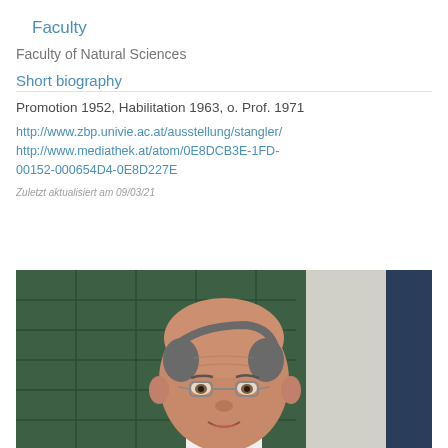Faculty
Faculty of Natural Sciences
Short biography
Promotion 1952, Habilitation 1963, o. Prof. 1971
http://www.zbp.univie.ac.at/ausstellung/stangler/
http://www.mediathek.at/atom/0E8DCB3E-1FD-00152-000654D4-0E8D227E
Zuletzt aktualisiert am 09/03/21
[Figure (photo): Portrait photo of an elderly man with glasses, wearing a white shirt, in front of a green tiled background]